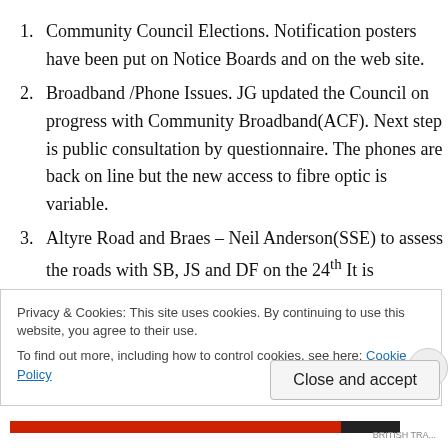Community Council Elections. Notification posters have been put on Notice Boards and on the web site.
Broadband /Phone Issues. JG updated the Council on progress with Community Broadband(ACF). Next step is public consultation by questionnaire. The phones are back on line but the new access to fibre optic is variable.
Altyre Road and Braes – Neil Anderson(SSE) to assess the roads with SB, JS and DF on the 24th It is suggested that the top of Altyre would benefit from top
Privacy & Cookies: This site uses cookies. By continuing to use this website, you agree to their use.
To find out more, including how to control cookies, see here: Cookie Policy